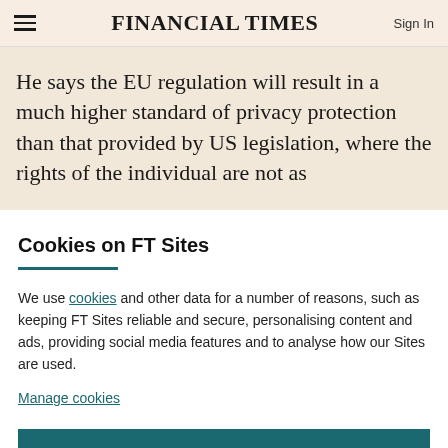FINANCIAL TIMES
He says the EU regulation will result in a much higher standard of privacy protection than that provided by US legislation, where the rights of the individual are not as
Cookies on FT Sites
We use cookies and other data for a number of reasons, such as keeping FT Sites reliable and secure, personalising content and ads, providing social media features and to analyse how our Sites are used.
Manage cookies
Accept & continue